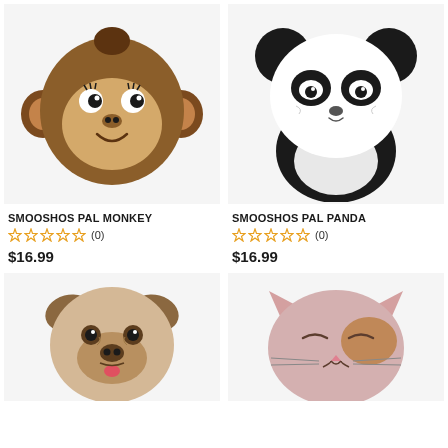[Figure (photo): Smooshos Pal Monkey plush toy with brown monkey face on light gray background]
[Figure (photo): Smooshos Pal Panda plush toy black and white panda on light gray background]
SMOOSHOS PAL MONKEY
☆☆☆☆☆ (0)
$16.99
SMOOSHOS PAL PANDA
☆☆☆☆☆ (0)
$16.99
[Figure (photo): Smooshos Pal Pug dog plush toy with beige pug face on light gray background]
[Figure (photo): Smooshos Pal Cat plush toy pink cat face on light gray background]